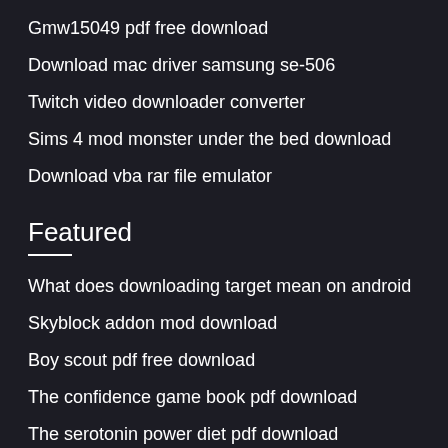Gmw15049 pdf free download
Download mac driver samsung se-506
Twitch video downloader converter
Sims 4 mod monster under the bed download
Download vba rar file emulator
Featured
What does downloading target mean on android
Skyblock addon mod download
Boy scout pdf free download
The confidence game book pdf download
The serotonin power diet pdf download
Popular Posts